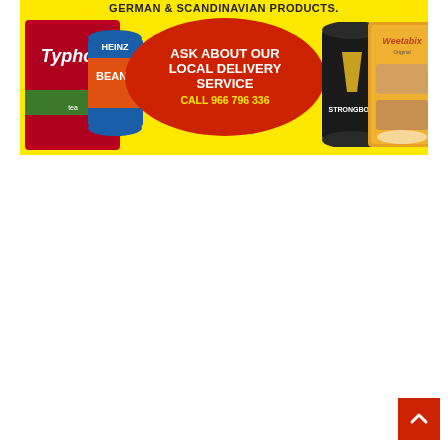[Figure (infographic): Advertising banner on yellow background for a shop selling British, German & Scandinavian products. Contains a red oval with text 'ASK ABOUT OUR LOCAL DELIVERY SERVICE CALL 966 796 336'. Product images include Typhoo tea, Heinz Beanz, Strongbow cider, and Weetabix cereal.]
[Figure (infographic): Red back-to-top button with white upward arrow in bottom-right corner.]